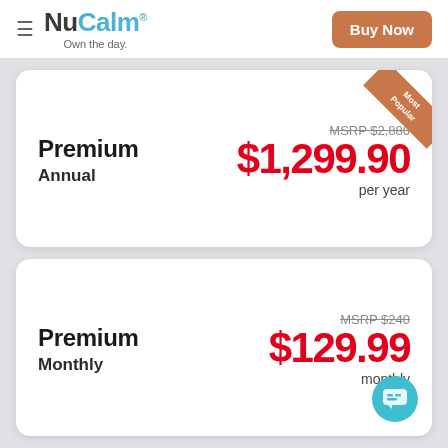NuCalm® Own the day. | Buy Now
Premium Annual — MSRP $2,880 — $1,299.90 per year (Most Popular)
Premium Monthly — MSRP $240 — $129.99 monthly